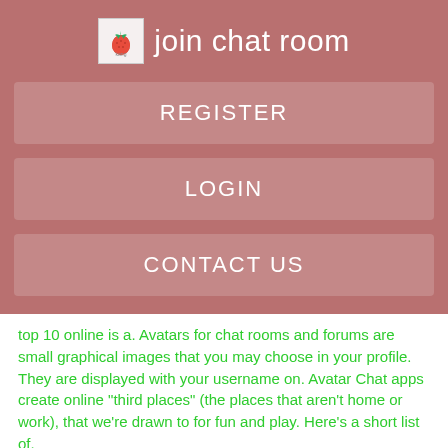join chat room
REGISTER
LOGIN
CONTACT US
top 10 online is a. Avatars for chat rooms and forums are small graphical images that you may choose in your profile. They are displayed with your username on. Avatar Chat apps create online "third places" (the places that aren't home or work), that we're drawn to for fun and play. Here's a short list of.
rook Phalanx, by Brainhouse Laboratories. History[ edit ] The Palace was originally created by Jim Bumgardner and produced by Time Warner Interactive inwith its official website launching